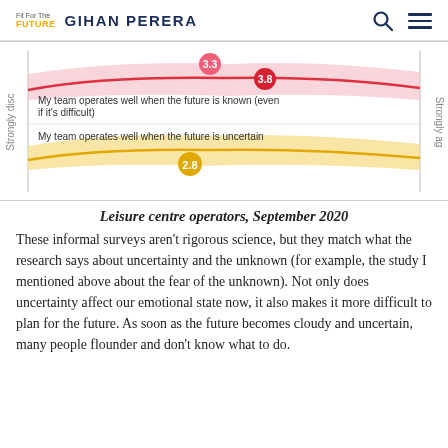Fit For The Future — Gihan Perera
[Figure (continuous-plot): Horizontal survey result chart showing two statements with slider/dot ratings. Top statement: 'My team operates well when the future is known (even if it's difficult)' with a pink/red gradient band and dot at 3.3 (lighter) and 3.8 (darker red). Bottom statement: 'My team operates well when the future is uncertain' with a yellow/gold gradient band and dot at 2.8. Left axis label: 'Strongly disc', right axis label: 'Strongly ag'.]
Leisure centre operators, September 2020
These informal surveys aren't rigorous science, but they match what the research says about uncertainty and the unknown (for example, the study I mentioned above about the fear of the unknown). Not only does uncertainty affect our emotional state now, it also makes it more difficult to plan for the future. As soon as the future becomes cloudy and uncertain, many people flounder and don't know what to do.